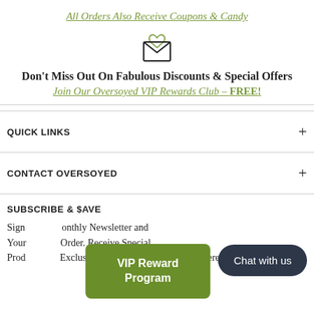All Orders Also Receive Coupons & Candy
[Figure (illustration): Envelope icon with a small heart above it]
Don't Miss Out On Fabulous Discounts & Special Offers
Join Our Oversoyed VIP Rewards Club - FREE!
QUICK LINKS
CONTACT OVERSOYED
SUBSCRIBE & $AVE
Sign [up for our M]onthly Newsletter and [save on] Your [first] Order. Receive Special [New] Prod[uct Announcements,] Exclusive Members Only Sales Delivered
VIP Reward Program
Chat with us